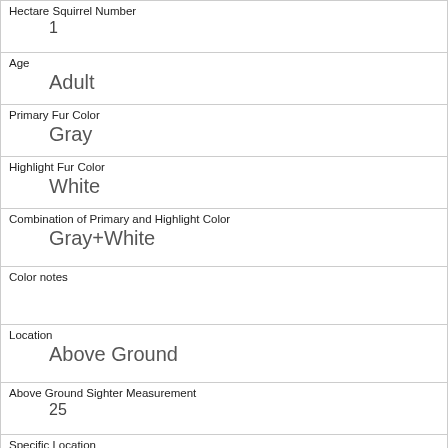| Hectare Squirrel Number | 1 |
| Age | Adult |
| Primary Fur Color | Gray |
| Highlight Fur Color | White |
| Combination of Primary and Highlight Color | Gray+White |
| Color notes |  |
| Location | Above Ground |
| Above Ground Sighter Measurement | 25 |
| Specific Location |  |
| Running | 1 |
| Chasing |  |